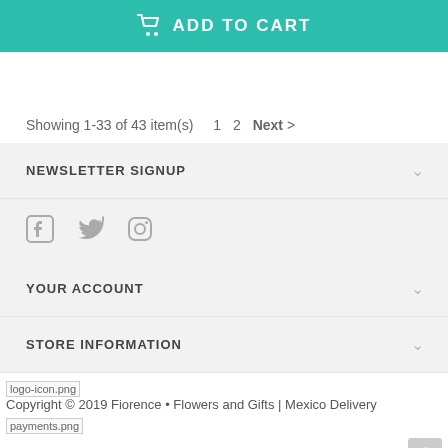[Figure (other): Add to Cart button bar with shopping cart icon, teal background, white text reading ADD TO CART]
Showing 1-33 of 43 item(s)   1  2  Next  >
NEWSLETTER SIGNUP
[Figure (other): Social media icons: Facebook, Twitter, Instagram]
YOUR ACCOUNT
STORE INFORMATION
[logo-icon.png] Copyright © 2019 Fiorence • Flowers and Gifts | Mexico Delivery
[payments.png]
© 2022 – Florence Flores y Regalos – Envios Nacionales